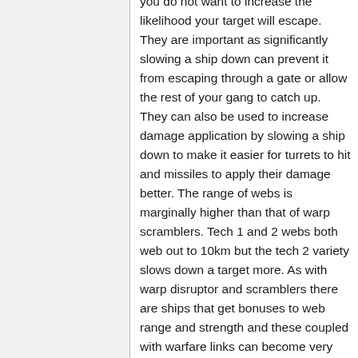you do not want to increase the likelihood your target will escape. They are important as significantly slowing a ship down can prevent it from escaping through a gate or allow the rest of your gang to catch up. They can also be used to increase damage application by slowing a ship down to make it easier for turrets to hit and missiles to apply their damage better. The range of webs is marginally higher than that of warp scramblers. Tech 1 and 2 webs both web out to 10km but the tech 2 variety slows down a target more. As with warp disruptor and scramblers there are ships that get bonuses to web range and strength and these coupled with warfare links can become very long range with 50-60km being common. The Stasis Grappler is a Battleship size module and is exceptionally powerful and dangerous